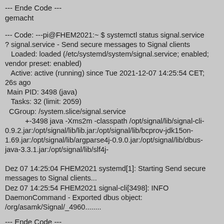--- Ende Code ---
gemacht
--- Code: ---pi@FHEM2021:~ $ systemctl status signal.service
? signal.service - Send secure messages to Signal clients
   Loaded: loaded (/etc/systemd/system/signal.service; enabled; vendor preset: enabled)
   Active: active (running) since Tue 2021-12-07 14:25:54 CET; 26s ago
 Main PID: 3498 (java)
   Tasks: 32 (limit: 2059)
  CGroup: /system.slice/signal.service
          +-3498 java -Xms2m -classpath /opt/signal/lib/signal-cli-0.9.2.jar:/opt/signal/lib/lib.jar:/opt/signal/lib/bcprov-jdk15on-1.69.jar:/opt/signal/lib/argparse4j-0.9.0.jar:/opt/signal/lib/dbus-java-3.3.1.jar:/opt/signal/lib/slf4j-

Dez 07 14:25:04 FHEM2021 systemd[1]: Starting Send secure messages to Signal clients...
Dez 07 14:25:54 FHEM2021 signal-cli[3498]: INFO DaemonCommand - Exported dbus object: /org/asamk/Signal/_4960........
--- Ende Code ---